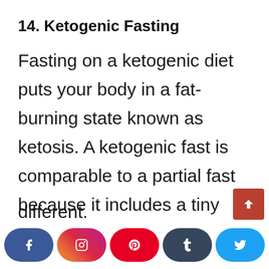14. Ketogenic Fasting
Fasting on a ketogenic diet puts your body in a fat-burning state known as ketosis. A ketogenic fast is comparable to a partial fast because it includes a tiny amount of food. The types of food consumed by the two are different.
[Figure (other): Social media share buttons bar at bottom: Facebook (blue), Instagram (gradient), Pinterest (red), Tumblr (dark blue), Twitter (light blue). Also a scroll-to-top button (brown/red).]